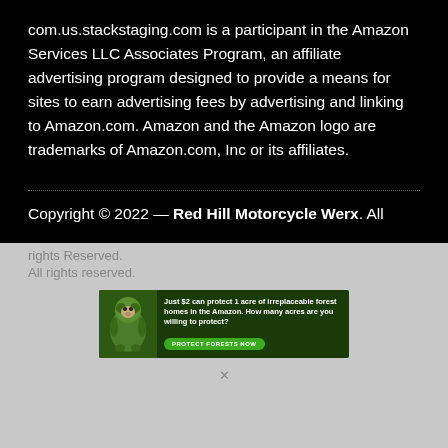com.us.stackstaging.com is a participant in the Amazon Services LLC Associates Program, an affiliate advertising program designed to provide a means for sites to earn advertising fees by advertising and linking to Amazon.com. Amazon and the Amazon logo are trademarks of Amazon.com, Inc or its affiliates.
Copyright © 2022 — Red Hill Motorcycle Werx. All
Rights Reserved.
All rights reserved.
[Figure (infographic): Advertisement banner for Amazon forest protection: 'Just $2 can protect 1 acre of irreplaceable forest homes in the Amazon. How many acres are you willing to protect?' with a 'PROTECT FORESTS NOW' green button and a monkey image on the left.]
X